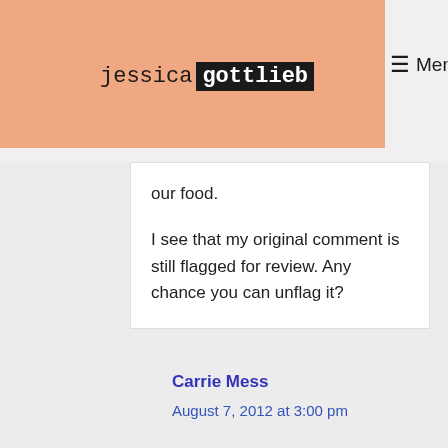jessica gottlieb
our food.
I see that my original comment is still flagged for review. Any chance you can unflag it?
Carrie Mess
August 7, 2012 at 3:00 pm